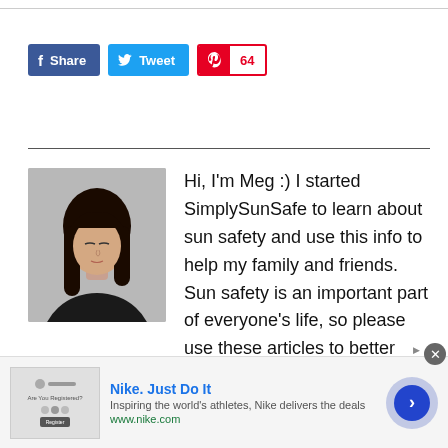[Figure (other): Social sharing buttons: Facebook Share, Twitter Tweet, Pinterest with count 64]
[Figure (photo): Profile photo of Meg, an Asian woman with long dark hair wearing a black top, against a grey background]
Hi, I'm Meg :) I started SimplySunSafe to learn about sun safety and use this info to help my family and friends. Sun safety is an important part of everyone's life, so please use these articles to better protect yourself and your loved ones.
[Figure (other): Nike advertisement: Nike. Just Do It. Inspiring the world's athletes, Nike delivers the deals. www.nike.com]